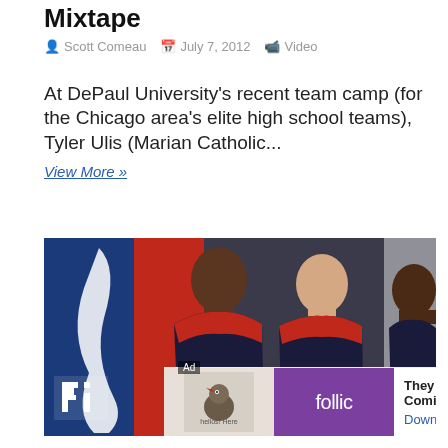Mixtape
Scott Comeau   July 7, 2012   Video
At DePaul University's recent team camp (for the Chicago area's elite high school teams), Tyler Ulis (Marian Catholic...
View More »
[Figure (photo): Basketball players in dark navy uniforms with red trim standing in a gym with red and blue backgrounds. A media logo watermark appears at bottom left and a TOP button at bottom right. An ad banner overlays the bottom with Follic branding and 'They Are Coming!' text.]